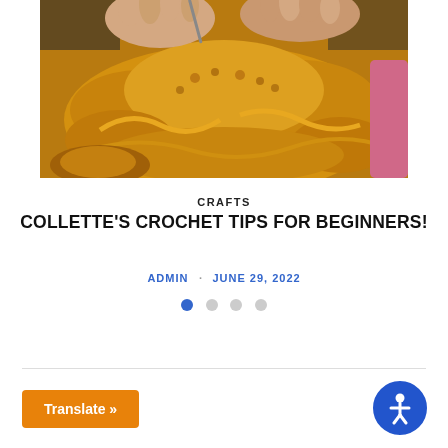[Figure (photo): Close-up of hands crocheting with thick yellow/golden yarn, showing a chunky crochet project in progress]
CRAFTS
COLLETTE'S CROCHET TIPS FOR BEGINNERS!
ADMIN · JUNE 29, 2022
[Figure (other): Pagination dots: 4 dots, first one active (blue), remaining three inactive (gray)]
[Figure (other): Translate button (orange) with text 'Translate »' and accessibility icon (blue circle with person figure) in the bottom right]